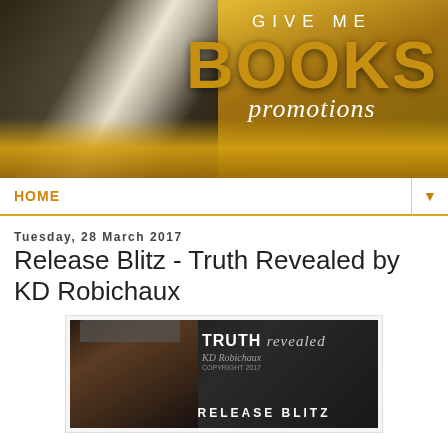[Figure (illustration): Give Me Books Promotions banner with gold glitter background and black-and-white photo of person reading, gold BOOKS text]
HOME
Tuesday, 28 March 2017
Release Blitz - Truth Revealed by KD Robichaux
[Figure (illustration): Book promo image for Truth Revealed by KD Robichaux with man's face on dark background, RELEASE BLITZ text]